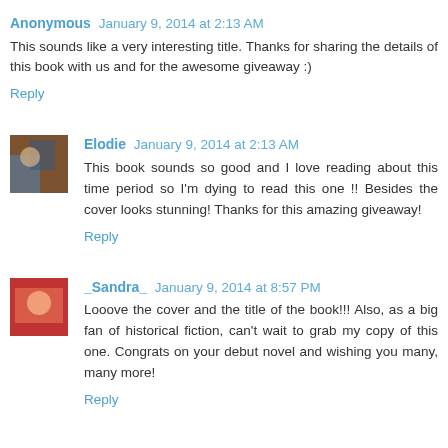Anonymous January 9, 2014 at 2:13 AM
This sounds like a very interesting title. Thanks for sharing the details of this book with us and for the awesome giveaway :)
Reply
Elodie January 9, 2014 at 2:13 AM
This book sounds so good and I love reading about this time period so I'm dying to read this one !! Besides the cover looks stunning! Thanks for this amazing giveaway!
Reply
_Sandra_ January 9, 2014 at 8:57 PM
Looove the cover and the title of the book!!! Also, as a big fan of historical fiction, can't wait to grab my copy of this one. Congrats on your debut novel and wishing you many, many more!
Reply